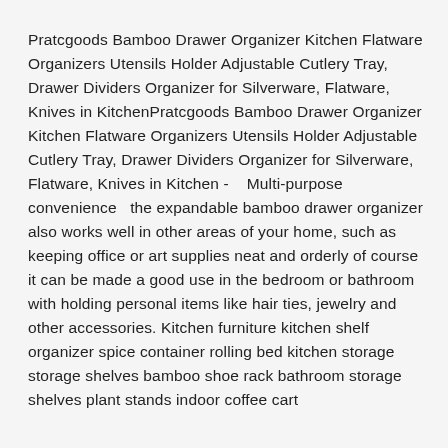Pratcgoods Bamboo Drawer Organizer Kitchen Flatware Organizers Utensils Holder Adjustable Cutlery Tray, Drawer Dividers Organizer for Silverware, Flatware, Knives in KitchenPratcgoods Bamboo Drawer Organizer Kitchen Flatware Organizers Utensils Holder Adjustable Cutlery Tray, Drawer Dividers Organizer for Silverware, Flatware, Knives in Kitchen -   Multi-purpose convenience   the expandable bamboo drawer organizer also works well in other areas of your home, such as keeping office or art supplies neat and orderly of course it can be made a good use in the bedroom or bathroom with holding personal items like hair ties, jewelry and other accessories. Kitchen furniture kitchen shelf organizer spice container rolling bed kitchen storage storage shelves bamboo shoe rack bathroom storage shelves plant stands indoor coffee cart